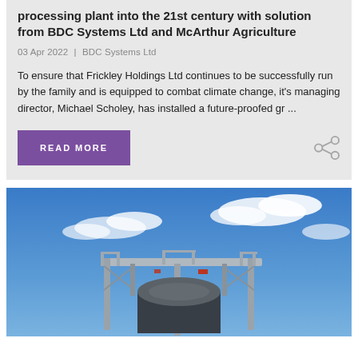processing plant into the 21st century with solution from BDC Systems Ltd and McArthur Agriculture
03 Apr 2022  |  BDC Systems Ltd
To ensure that Frickley Holdings Ltd continues to be successfully run by the family and is equipped to combat climate change, it's managing director, Michael Scholey, has installed a future-proofed gr ...
[Figure (photo): Industrial processing equipment (large cylindrical duct/pipe mounted on scaffolding structure) photographed from below against a blue sky with white clouds.]